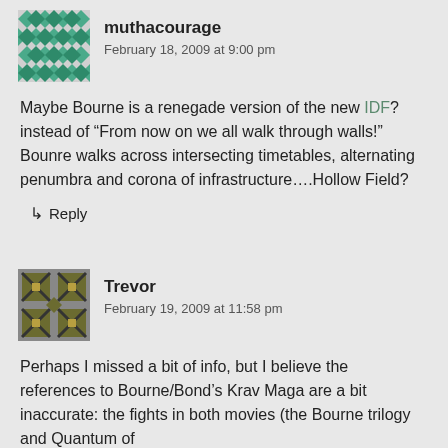[Figure (illustration): Green pixel/quilt pattern avatar for user muthacourage]
muthacourage
February 18, 2009 at 9:00 pm
Maybe Bourne is a renegade version of the new IDF? instead of “From now on we all walk through walls!” Bounre walks across intersecting timetables, alternating penumbra and corona of infrastructure….Hollow Field?
↳ Reply
[Figure (illustration): Olive/dark green pixel pattern avatar for user Trevor]
Trevor
February 19, 2009 at 11:58 pm
Perhaps I missed a bit of info, but I believe the references to Bourne/Bond’s Krav Maga are a bit inaccurate: the fights in both movies (the Bourne trilogy and Quantum of Solace) have been associated with this, but...